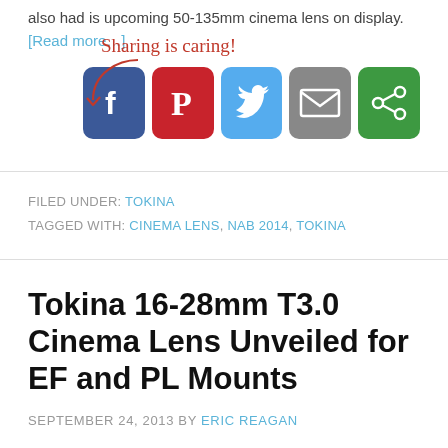also had is upcoming 50-135mm cinema lens on display. [Read more…]
[Figure (infographic): Sharing is caring! social sharing buttons: Facebook (blue), Pinterest (red), Twitter (light blue), Email (grey), SumoMe share (green)]
FILED UNDER: TOKINA
TAGGED WITH: CINEMA LENS, NAB 2014, TOKINA
Tokina 16-28mm T3.0 Cinema Lens Unveiled for EF and PL Mounts
SEPTEMBER 24, 2013 BY ERIC REAGAN